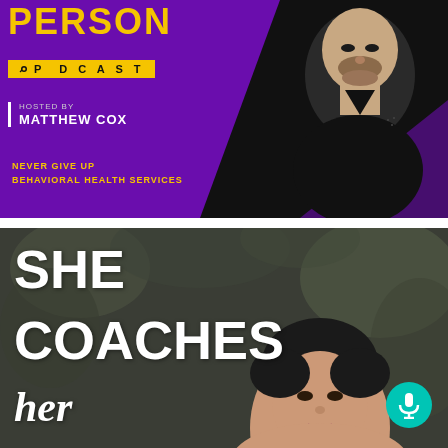[Figure (illustration): Podcast artwork for a show featuring a man in a black shirt against a purple/black background. Text reads PERSON, PODCAST, HOSTED BY MATTHEW COX, NEVER GIVE UP BEHAVIORAL HEALTH SERVICES.]
[Figure (illustration): Podcast artwork with a woman with short dark hair against a blurred green/grey background. Large white text reads SHE COACHES her, with a teal microphone icon circle in bottom right.]